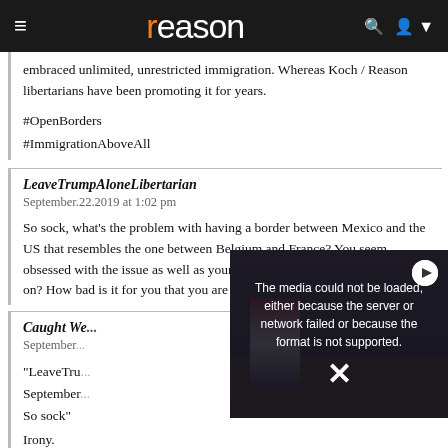reason
embraced unlimited, unrestricted immigration. Whereas Koch / Reason libertarians have been promoting it for years.
#OpenBorders
#ImmigrationAboveAll
LeaveTrumpAloneLibertarian
September.22.2019 at 1:02 pm

So sock, what's the problem with having a border between Mexico and the US that resembles the one between Belgium and France? You seem obsessed with the issue as well as your XY chromosomes? What's going on? How bad is it for you that you are a White male?
Caught We...
September...

"LeaveTru...
September...
So sock"

Irony.
[Figure (screenshot): Video player showing error message: The media could not be loaded, either because the server or network failed or because the format is not supported. Background shows person at podium with American flag.]